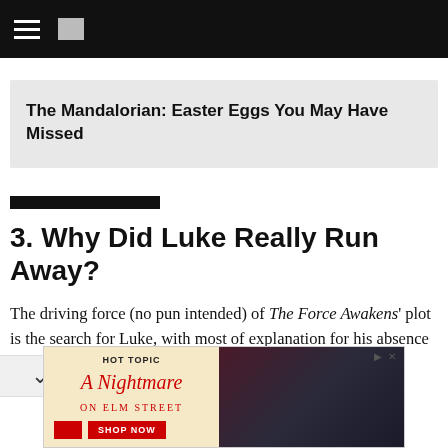navigation bar with hamburger menu and logo
The Mandalorian: Easter Eggs You May Have Missed
3. Why Did Luke Really Run Away?
The driving force (no pun intended) of The Force Awakens' plot is the search for Luke, with most of explanation for his absence coming from his old
[Figure (other): Hot Topic advertisement for A Nightmare on Elm Street merchandise featuring two people in dark clothing with a Shop Now button]